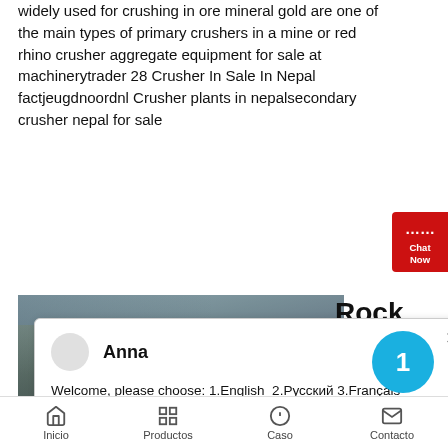widely used for crushing in ore mineral gold are one of the main types of primary crushers in a mine or red rhino crusher aggregate equipment for sale at machinerytrader 28 Crusher In Sale In Nepal factjeugdnoordnl Crusher plants in nepalsecondary crusher nepal for sale
[Figure (photo): Rock crusher machinery inside an industrial facility; partially obscured by a chat popup overlay. A 'Rock' heading is partially visible to the right of the image.]
Anna
Welcome, please choose: 1.English  2.Русский 3.Français 4.Español  5.bahasa Indonesia  6.عربی
diversifiedcommunityservices
Inicio   Productos   Caso   Contacto